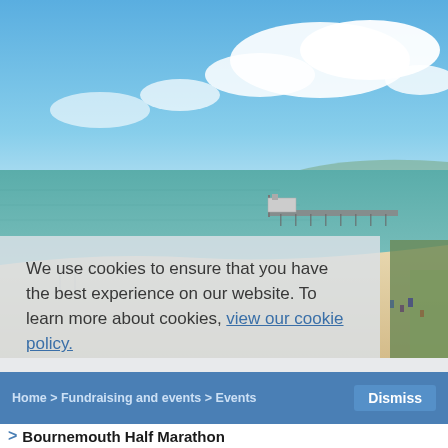[Figure (photo): Aerial/elevated photograph of Bournemouth beach and pier, showing sandy beach, teal sea, pier with building at end, blue sky with clouds, and beach visitors on the right side.]
We use cookies to ensure that you have the best experience on our website. To learn more about cookies, view our cookie policy.
Home > Fundraising and events > Events
> Bournemouth Half Marathon